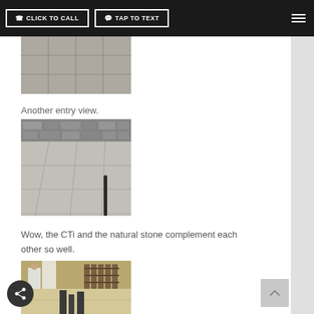CLICK TO CALL  TAP TO TEXT
[Figure (photo): Floor tile entry view from above, showing large light gray concrete tiles with grout lines]
Another entry view.
[Figure (photo): Another entry view showing CTi concrete floor tiles with a natural stone wall at the back and a black railing]
Wow, the CTi and the natural stone complement each other so well.
[Figure (photo): Interior room view showing a large open space with CTi flooring, people and shelving in background]